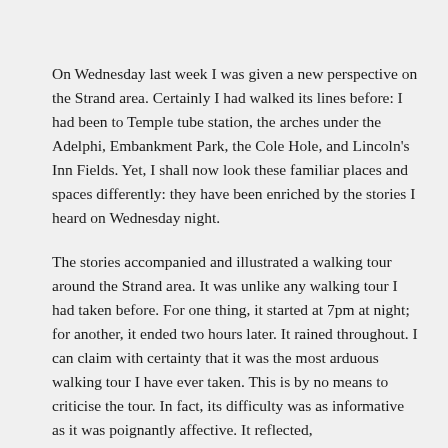On Wednesday last week I was given a new perspective on the Strand area. Certainly I had walked its lines before: I had been to Temple tube station, the arches under the Adelphi, Embankment Park, the Cole Hole, and Lincoln's Inn Fields. Yet, I shall now look these familiar places and spaces differently: they have been enriched by the stories I heard on Wednesday night.
The stories accompanied and illustrated a walking tour around the Strand area. It was unlike any walking tour I had taken before. For one thing, it started at 7pm at night; for another, it ended two hours later. It rained throughout. I can claim with certainty that it was the most arduous walking tour I have ever taken. This is by no means to criticise the tour. In fact, its difficulty was as informative as it was poignantly affective. It reflected,